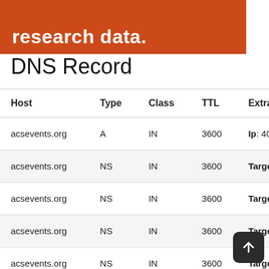research data.
DNS Record
| Host | Type | Class | TTL | Extra |
| --- | --- | --- | --- | --- |
| acsevents.org | A | IN | 3600 | Ip: 40.71.250.191 |
| acsevents.org | NS | IN | 3600 | Target: ns1-08.azure |
| acsevents.org | NS | IN | 3600 | Target: ns2-08.azure |
| acsevents.org | NS | IN | 3600 | Target: ns3-08.azure |
| acsevents.org | NS | IN | 3600 | Target: ...azure |